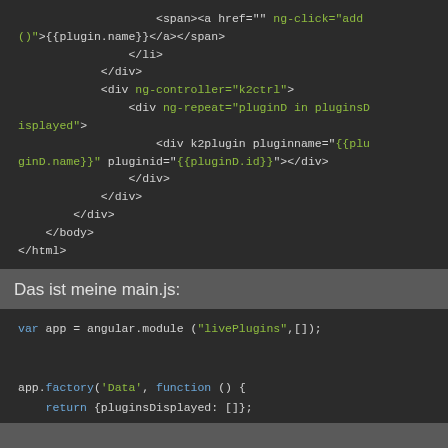[Figure (screenshot): Dark-themed code editor screenshot showing HTML template code with Angular directives. Code includes span/a tags with ng-click='add()', closing li/div tags, div with ng-controller='k2ctrl', div with ng-repeat='pluginD in pluginsDisplayed', div with k2plugin directive, and closing body/html tags.]
Das ist meine main.js:
[Figure (screenshot): Dark-themed code editor screenshot showing JavaScript AngularJS code. var app = angular.module('livePlugins',[]); app.factory('Data', function () { return {pluginsDisplayed: []};]